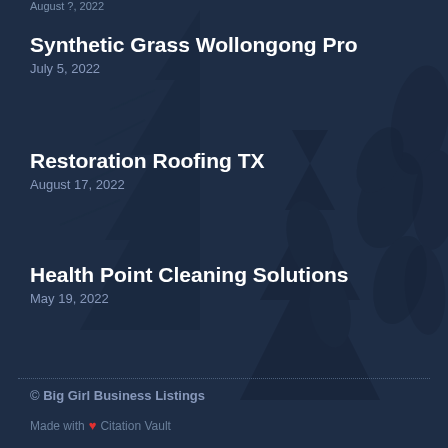August ?, 2022
Synthetic Grass Wollongong Pro
July 5, 2022
Restoration Roofing TX
August 17, 2022
Health Point Cleaning Solutions
May 19, 2022
© Big Girl Business Listings
Made with ❤ Citation Vault